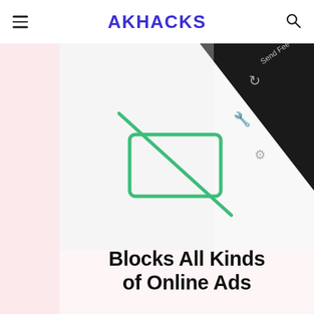AKHACKS
[Figure (screenshot): Screenshot of a browser/app interface showing an ad blocker feature with a crossed-out display/screen icon and text 'Blocks All Kinds of Online Ads' and 'Banners, pop-ups, video ads & more!']
Blocks All Kinds of Online Ads
Banners, pop-ups, video ads & more!